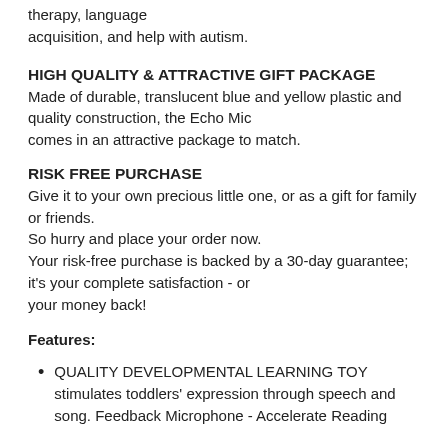therapy, language acquisition, and help with autism.
HIGH QUALITY & ATTRACTIVE GIFT PACKAGE
Made of durable, translucent blue and yellow plastic and quality construction, the Echo Mic comes in an attractive package to match.
RISK FREE PURCHASE
Give it to your own precious little one, or as a gift for family or friends.
So hurry and place your order now.
Your risk-free purchase is backed by a 30-day guarantee; it's your complete satisfaction - or your money back!
Features:
QUALITY DEVELOPMENTAL LEARNING TOY stimulates toddlers' expression through speech and song. Feedback Microphone - Accelerate Reading